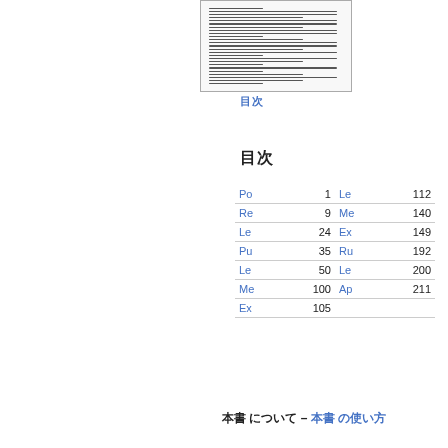[Figure (screenshot): Thumbnail of a document page with text lines]
目次
目次
|  |  |  |  |
| --- | --- | --- | --- |
| Po | 1 | Le | 112 |
| Re | 9 | Me | 140 |
| Le | 24 | Ex | 149 |
| Pu | 35 | Ru | 192 |
| Le | 50 | Le | 200 |
| Me | 100 | Ap | 211 |
| Ex | 105 |  |  |
本書 について – 本書 の使い方